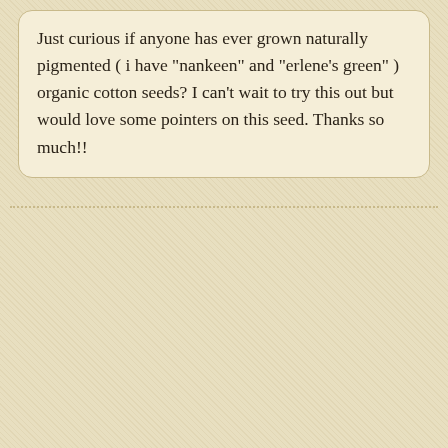Just curious if anyone has ever grown naturally pigmented ( i have "nankeen" and "erlene's green" ) organic cotton seeds? I can't wait to try this out but would love some pointers on this seed. Thanks so much!!